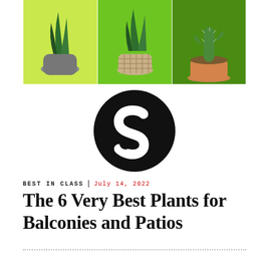[Figure (photo): Three potted plants on green background panels: left panel (light green) with a snake plant in a gray concrete pot, center panel (bright green) with a plant in a woven basket pot, right panel (dark green) with a cactus in a terra cotta pot.]
[Figure (logo): Strategist logo — black circle with a white stylized S letterform inside.]
BEST IN CLASS | July 14, 2022
The 6 Very Best Plants for Balconies and Patios